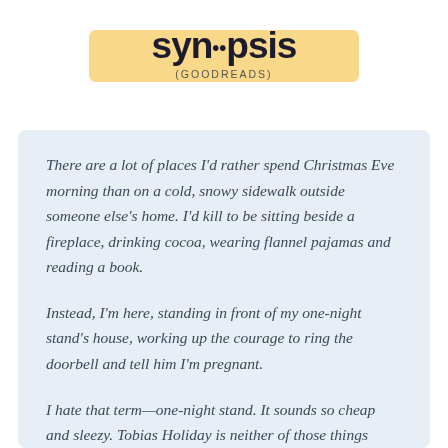syn•psis (GOODREADS)
There are a lot of places I’d rather spend Christmas Eve morning than on a cold, snowy sidewalk outside someone else’s home. I’d kill to be sitting beside a fireplace, drinking cocoa, wearing flannel pajamas and reading a book.
Instead, I’m here, standing in front of my one-night stand’s house, working up the courage to ring the doorbell and tell him I’m pregnant.
I hate that term—one-night stand. It sounds so cheap and sleezy. Tobias Holiday is neither of those things